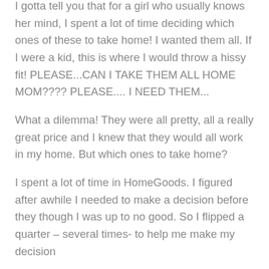I gotta tell you that for a girl who usually knows her mind, I spent a lot of time deciding which ones of these to take home! I wanted them all. If I were a kid, this is where I would throw a hissy fit! PLEASE...CAN I TAKE THEM ALL HOME MOM???? PLEASE.... I NEED THEM...
What a dilemma! They were all pretty, all a really great price and I knew that they would all work in my home. But which ones to take home?
I spent a lot of time in HomeGoods. I figured after awhile I needed to make a decision before they though I was up to no good. So I flipped a quarter – several times- to help me make my decision